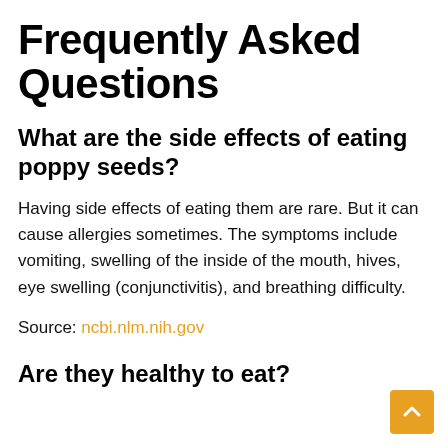Frequently Asked Questions
What are the side effects of eating poppy seeds?
Having side effects of eating them are rare. But it can cause allergies sometimes. The symptoms include vomiting, swelling of the inside of the mouth, hives, eye swelling (conjunctivitis), and breathing difficulty.
Source: ncbi.nlm.nih.gov
Are they healthy to eat?